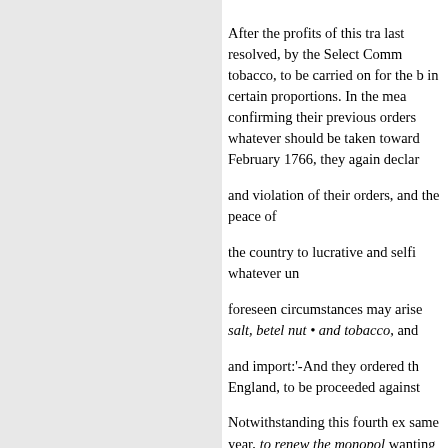After the profits of this tra last resolved, by the Select Comm tobacco, to be carried on for the b in certain proportions. In the mea confirming their previous orders whatever should be taken toward February 1766, they again declar and violation of their orders, and the peace of the country to lucrative and selfi whatever un foreseen circumstances may arise salt, betel nut • and tobacco, and and import:'-And they ordered th England, to be proceeded against Notwithstanding this fourth ex same year, to renew the monopol wanting in such a case, that the D change in the affairs of these pro immediately concerned.' On' the which Clive did not, perhaps, thi